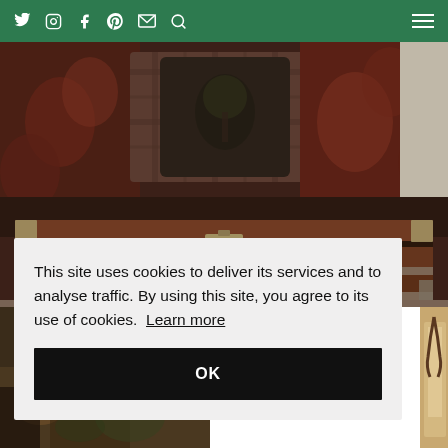Social icons: Twitter, Instagram, Facebook, Pinterest, Mail, Search | Hamburger menu
[Figure (photo): Antique leather travel trunk used as a coffee table in front of a sofa with decorative floral and plaid pillows]
[Figure (photo): Partial view of a room interior with warm tones, bottom left]
[Figure (photo): Partial view of a room interior, bottom right edge]
This site uses cookies to deliver its services and to analyse traffic. By using this site, you agree to its use of cookies. Learn more
OK